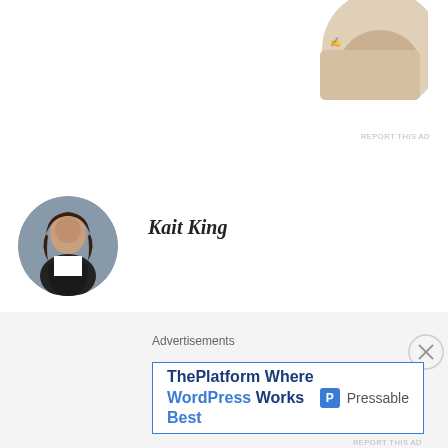[Figure (photo): Partial photo of a person writing, visible at top center of page]
REPORT THIS AD
[Figure (photo): Circular avatar photo of Kait King, a woman with dark hair wearing a black jacket]
Kait King
MAY 12, 2015 AT 18:12
Hahaha! Drop dead Fred?? somethin' like that?
★ Liked by 3 people
REPLY
Advertisements
[Figure (screenshot): Advertisement banner: 'ThePlatform Where WordPress Works Best' with Pressable logo]
REPORT THIS AD